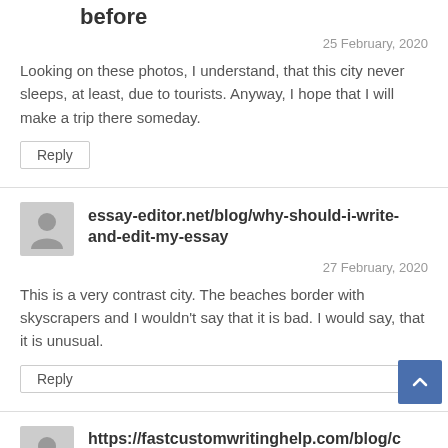before
25 February, 2020
Looking on these photos, I understand, that this city never sleeps, at least, due to tourists. Anyway, I hope that I will make a trip there someday.
Reply
essay-editor.net/blog/why-should-i-write-and-edit-my-essay
27 February, 2020
This is a very contrast city. The beaches border with skyscrapers and I wouldn't say that it is bad. I would say, that it is unusual.
Reply
https://fastcustomwritinghelp.com/blog/c